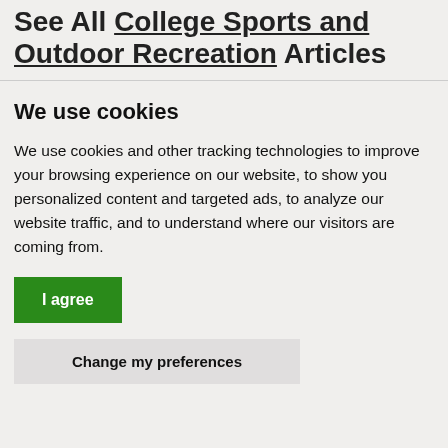See All College Sports and Outdoor Recreation Articles
We use cookies
We use cookies and other tracking technologies to improve your browsing experience on our website, to show you personalized content and targeted ads, to analyze our website traffic, and to understand where our visitors are coming from.
I agree
Change my preferences